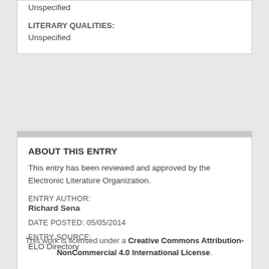Unspecified
LITERARY QUALITIES:
Unspecified
ABOUT THIS ENTRY
This entry has been reviewed and approved by the Electronic Literature Organization.
ENTRY AUTHOR:
Richard Sena
DATE POSTED: 05/05/2014
ENTRY SOURCE:
ELO Directory
This work is licensed under a Creative Commons Attribution-NonCommercial 4.0 International License.